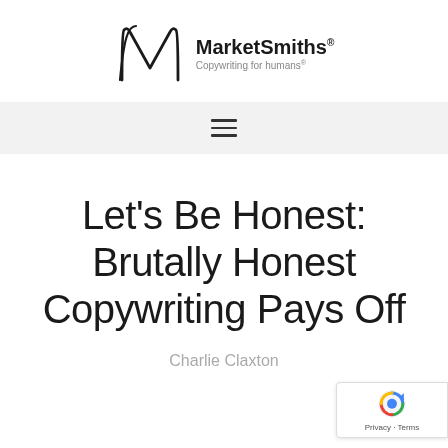[Figure (logo): MarketSmiths logo with stylized M and text 'MarketSmiths® Copywriting for humans®']
≡
Let's Be Honest: Brutally Honest Copywriting Pays Off
Charlie Claxton
[Figure (other): Google reCAPTCHA badge in bottom right corner showing Privacy · Terms]